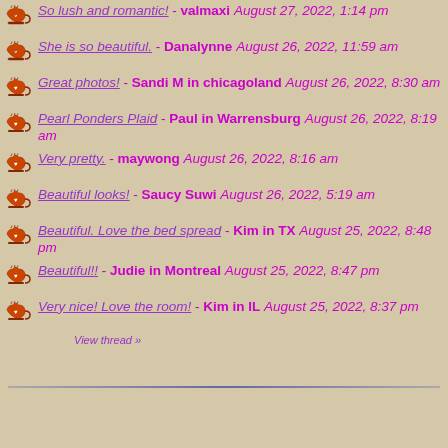So lush and romantic! - valmaxi August 27, 2022, 1:14 pm
She is so beautiful. - Danalynne August 26, 2022, 11:59 am
Great photos! - Sandi M in chicagoland August 26, 2022, 8:30 am
Pearl Ponders Plaid - Paul in Warrensburg August 26, 2022, 8:19 am
Very pretty. - maywong August 26, 2022, 8:16 am
Beautiful looks! - Saucy Suwi August 26, 2022, 5:19 am
Beautiful. Love the bed spread - Kim in TX August 25, 2022, 8:48 pm
Beautiful!! - Judie in Montreal August 25, 2022, 8:47 pm
Very nice! Love the room! - Kim in IL August 25, 2022, 8:37 pm
View thread »